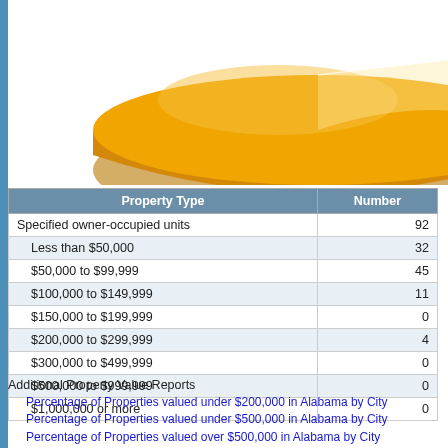[Figure (pie-chart): Partial view of a 3D pie chart with a large orange/amber slice dominating, shown cropped at the top of the page.]
| Property Type | Number |
| --- | --- |
| Specified owner-occupied units | 92 |
| Less than $50,000 | 32 |
| $50,000 to $99,999 | 45 |
| $100,000 to $149,999 | 11 |
| $150,000 to $199,999 | 0 |
| $200,000 to $299,999 | 4 |
| $300,000 to $499,999 | 0 |
| $500,000 to $999,999 | 0 |
| $1,000,000 or more | 0 |
Additional Property Value Reports
Percentage of Properties valued under $200,000 in Alabama by City
Percentage of Properties valued under $500,000 in Alabama by City
Percentage of Properties valued over $500,000 in Alabama by City
Percentage of Properties valued over $1,000,000 in Alabama by City
Download Data